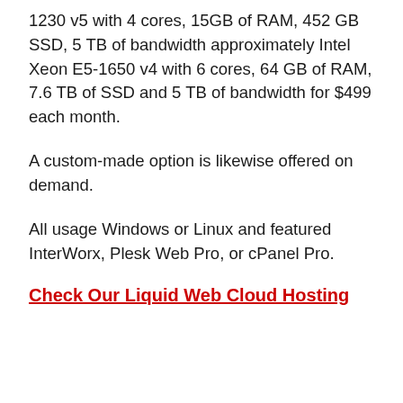1230 v5 with 4 cores, 15GB of RAM, 452 GB SSD, 5 TB of bandwidth approximately Intel Xeon E5-1650 v4 with 6 cores, 64 GB of RAM, 7.6 TB of SSD and 5 TB of bandwidth for $499 each month.
A custom-made option is likewise offered on demand.
All usage Windows or Linux and featured InterWorx, Plesk Web Pro, or cPanel Pro.
Check Our Liquid Web Cloud Hosting